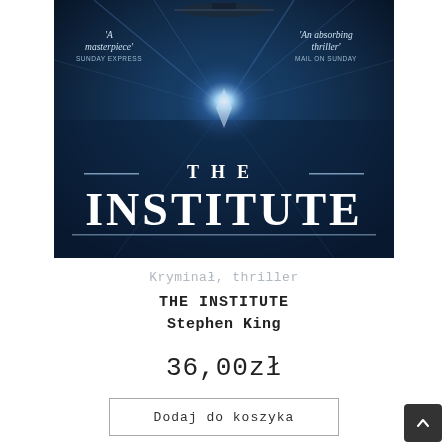[Figure (illustration): Book cover of 'The Institute' by Stephen King — dark blue background with a bright light burst in the center, a boat silhouette at the top, and large white text reading 'THE INSTITUTE'. Two review quotes: 'A masterpiece' – Sunday Express (left) and 'An absorbing thriller' – Mail On Sunday (right).]
Kryminał, thriller
THE INSTITUTE
Stephen King
36,00zł
Dodaj do koszyka